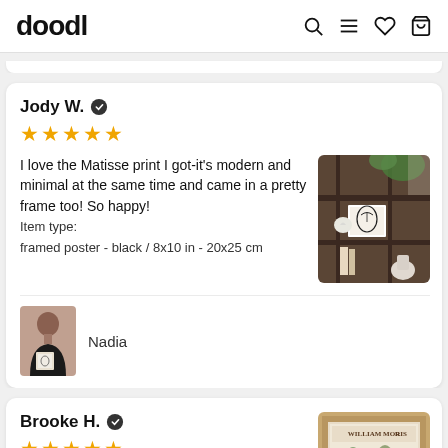doodl
Jody W. ✓
★★★★★
I love the Matisse print I got-it's modern and minimal at the same time and came in a pretty frame too! So happy!
Item type:
framed poster - black / 8x10 in - 20x25 cm
[Figure (photo): Framed line-art portrait displayed on dark wooden shelf with plants and decorative objects]
Nadia
[Figure (photo): Seller avatar photo: person in black shirt holding framed artwork]
Brooke H. ✓
★★★★★
This was my first time ordering from here
[Figure (photo): William Morris framed poster in wooden frame]